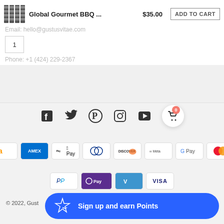[Figure (screenshot): Product row with BBQ product image, name 'Global Gourmet BBQ ...', price '$35.00', and 'ADD TO CART' button]
Email: hello@gustusvitae.com
1
Phone: +1 (424) 229-2367
[Figure (infographic): Social media icons: Facebook, Twitter, Pinterest, Instagram, YouTube, and shopping cart with badge showing 0]
[Figure (infographic): Payment method icons: Amazon Pay, AMEX, Apple Pay, Diners Club, Discover, Meta Pay, Google Pay, Mastercard, PayPal, OPay, Venmo, VISA]
© 2022, Gust...
Sign up and earn Points